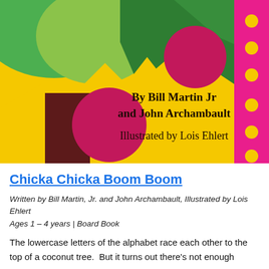[Figure (illustration): Book cover of Chicka Chicka Boom Boom showing colorful abstract shapes: green tree/leaf shapes, a dark red/maroon rectangle (tree trunk), two dark pink/crimson circles (coconuts), yellow background with zigzag pattern, and a pink polka-dot strip on the right side. Text on cover reads: 'By Bill Martin Jr and John Archambault Illustrated by Lois Ehlert']
Chicka Chicka Boom Boom
Written by Bill Martin, Jr. and John Archambault, Illustrated by Lois Ehlert
Ages 1 – 4 years | Board Book
The lowercase letters of the alphabet race each other to the top of a coconut tree.  But it turns out there's not enough